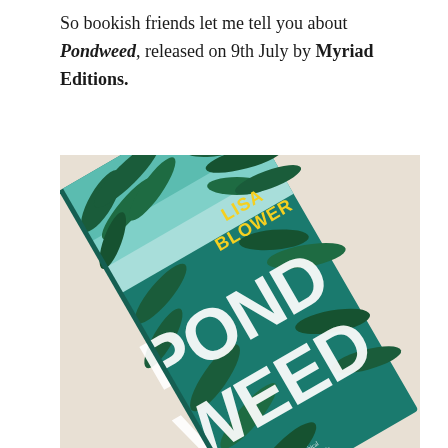So bookish friends let me tell you about Pondweed, released on 9th July by Myriad Editions.
[Figure (photo): A photograph of the book 'Pondweed' by Lisa Blower, published by Myriad Editions. The book cover features large white lettering spelling 'PONDWEED' against a teal/blue-green background with illustrated aquatic plants and leaves. The author name 'LISA BLOWER' appears in yellow text. The book is photographed at an angle on a light beige surface.]